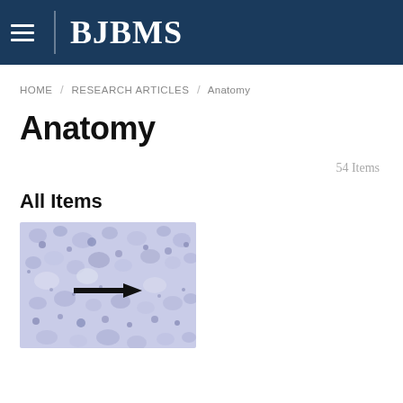BJBMS
HOME / RESEARCH ARTICLES / Anatomy
Anatomy
54 Items
All Items
[Figure (photo): Microscopy image of tissue section stained with hematoxylin, showing cellular structures with a black arrow pointing to a specific cell or feature in the center of the image.]